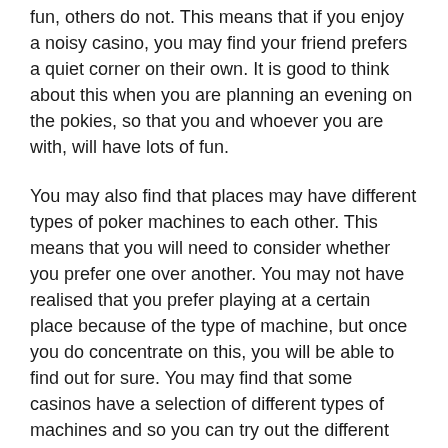fun, others do not. This means that if you enjoy a noisy casino, you may find your friend prefers a quiet corner on their own. It is good to think about this when you are planning an evening on the pokies, so that you and whoever you are with, will have lots of fun.
You may also find that places may have different types of poker machines to each other. This means that you will need to consider whether you prefer one over another. You may not have realised that you prefer playing at a certain place because of the type of machine, but once you do concentrate on this, you will be able to find out for sure. You may find that some casinos have a selection of different types of machines and so you can try out the different ones to find out if this makes a difference to you. They may also have different versions of the games on the machines and this might make a difference to your enjoyment as well.